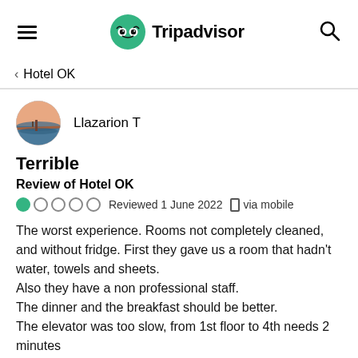Tripadvisor
< Hotel OK
[Figure (photo): Circular avatar photo of sunset over water/pier]
Llazarion T
Terrible
Review of Hotel OK
Reviewed 1 June 2022  via mobile
The worst experience. Rooms not completely cleaned, and without fridge. First they gave us a room that hadn't water, towels and sheets.
Also they have a non professional staff.
The dinner and the breakfast should be better.
The elevator was too slow, from 1st floor to 4th needs 2 minutes